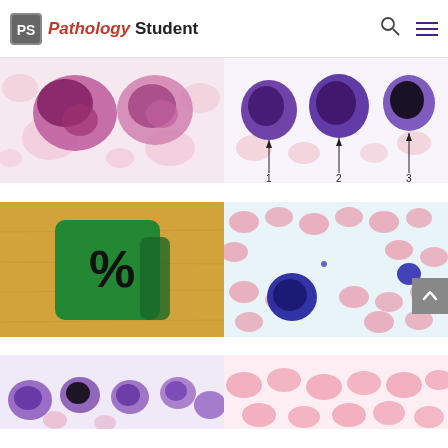Pathology Student
[Figure (photo): Microscopy image of purple/pink stained blood cells showing large abnormal cells with irregular nuclei]
[Figure (photo): Microscopy image with labeled arrows 1, 2, 3 pointing to large dark-purple stained cells among red blood cells]
[Figure (photo): Green plastic percentage symbol tile on a wooden surface]
[Figure (photo): Blood smear microscopy showing pink red blood cells with one large dark-blue/purple lymphocyte cell]
[Figure (photo): Microscopy image of purple/violet stained blood cells - partially visible at bottom]
[Figure (photo): Blood smear microscopy with pink red blood cells - partially visible at bottom]